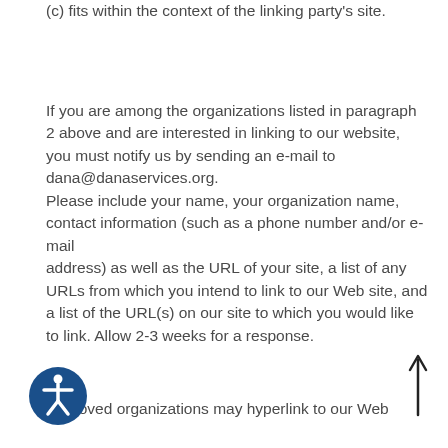(c) fits within the context of the linking party's site.
If you are among the organizations listed in paragraph 2 above and are interested in linking to our website, you must notify us by sending an e-mail to dana@danaservices.org. Please include your name, your organization name, contact information (such as a phone number and/or e-mail address) as well as the URL of your site, a list of any URLs from which you intend to link to our Web site, and a list of the URL(s) on our site to which you would like to link. Allow 2-3 weeks for a response.
Approved organizations may hyperlink to our Web